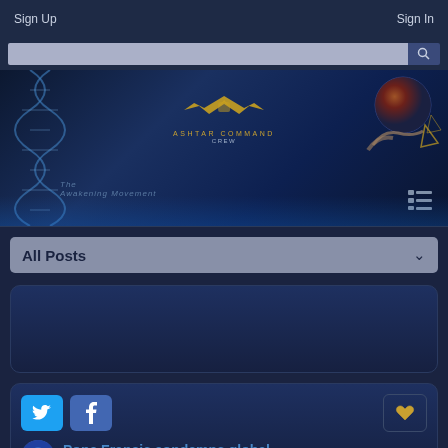Sign Up   Sign In
[Figure (screenshot): Website banner for Ashtar Command Crew / The Awakening Movement with DNA helix, globe, and cosmic imagery on dark blue background]
All Posts
[Figure (screenshot): Blank post card placeholder with dark blue gradient background]
Pope Francis condemns global...